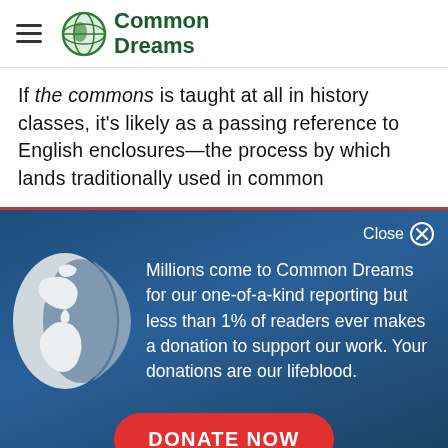Common Dreams
If the commons is taught at all in history classes, it's likely as a passing reference to English enclosures—the process by which lands traditionally used in common
[Figure (infographic): Donation appeal overlay with globe icon. Text: 'Millions come to Common Dreams for our one-of-a-kind reporting but less than 1% of readers ever makes a donation to support our work. Your donations are our lifeblood.' with a DONATE NOW button.]